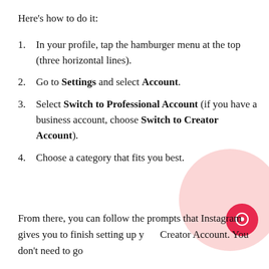Here's how to do it:
In your profile, tap the hamburger menu at the top (three horizontal lines).
Go to Settings and select Account.
Select Switch to Professional Account (if you have a business account, choose Switch to Creator Account).
Choose a category that fits you best.
From there, you can follow the prompts that Instagram gives you to finish setting up your Creator Account. You don't need to go through all the steps if you just want a basic